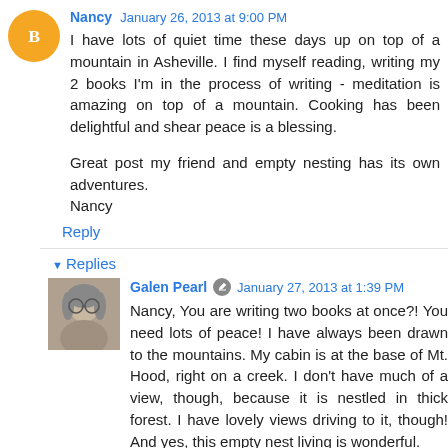Nancy January 26, 2013 at 9:00 PM
I have lots of quiet time these days up on top of a mountain in Asheville. I find myself reading, writing my 2 books I'm in the process of writing - meditation is amazing on top of a mountain. Cooking has been delightful and shear peace is a blessing.

Great post my friend and empty nesting has its own adventures.
Nancy
Reply
Replies
Galen Pearl January 27, 2013 at 1:39 PM
Nancy, You are writing two books at once?! You need lots of peace! I have always been drawn to the mountains. My cabin is at the base of Mt. Hood, right on a creek. I don't have much of a view, though, because it is nestled in thick forest. I have lovely views driving to it, though! And yes, this empty nest living is wonderful.